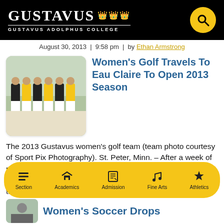Gustavus Adolphus College
August 30, 2013  |  9:58 pm  |  by Ethan Armstrong
[Figure (photo): Team photo of the 2013 Gustavus women's golf team]
Women's Golf Travels To Eau Claire To Open 2013 Season
The 2013 Gustavus women's golf team (team photo courtesy of Sport Pix Photography). St. Peter, Minn. – After a week of practice and qualifying rounds, the Gustavus Adolphus women's golf team is set to open the 2013 season when it travels to Eau Claire, Wis. to take part in the Georgianni Memorial Invitational, hosted by [...]
Section | Academics | Admission | Fine Arts | Athletics
Women's Soccer Drops